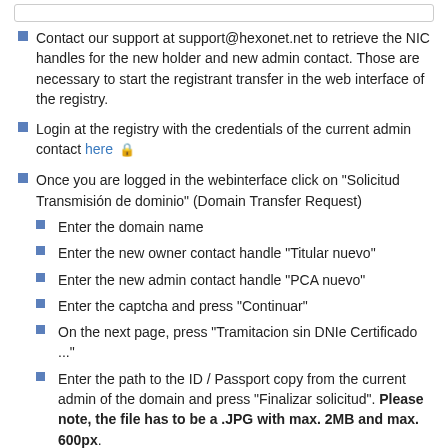Contact our support at support@hexonet.net to retrieve the NIC handles for the new holder and new admin contact. Those are necessary to start the registrant transfer in the web interface of the registry.
Login at the registry with the credentials of the current admin contact here 🔒
Once you are logged in the webinterface click on "Solicitud Transmisión de dominio" (Domain Transfer Request)
Enter the domain name
Enter the new owner contact handle "Titular nuevo"
Enter the new admin contact handle "PCA nuevo"
Enter the captcha and press "Continuar"
On the next page, press "Tramitacion sin DNIe Certificado ..."
Enter the path to the ID / Passport copy from the current admin of the domain and press "Finalizar solicitud". Please note, the file has to be a .JPG with max. 2MB and max. 600px.
The new admin contact will receive an email from the registry enabling him to confirm or cancel the transfer